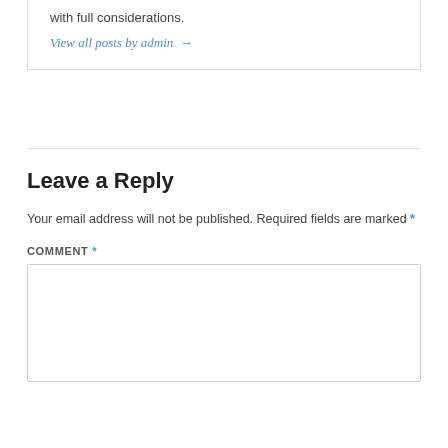with full considerations.
View all posts by admin →
Leave a Reply
Your email address will not be published. Required fields are marked *
COMMENT *